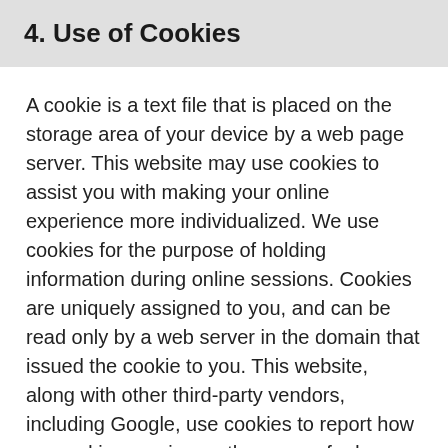4. Use of Cookies
A cookie is a text file that is placed on the storage area of your device by a web page server. This website may use cookies to assist you with making your online experience more individualized. We use cookies for the purpose of holding information during online sessions. Cookies are uniquely assigned to you, and can be read only by a web server in the domain that issued the cookie to you. This website, along with other third-party vendors, including Google, use cookies to report how your ad impressions, other uses of ad services, and interactions with these ad impressions and ad services are related to visits to your site. We may also collect other information from users to the Websites such as the user's IP address (the number assigned automatically to your computer whenever you use the World Wide Web), length of time spent on the